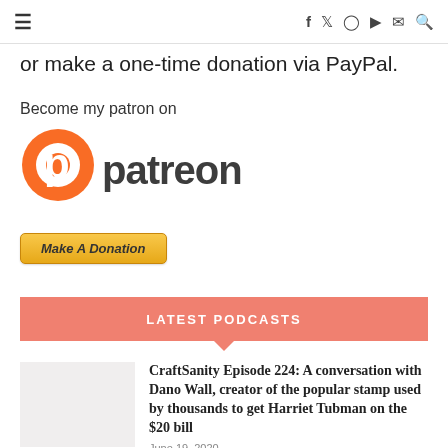≡   f  𝕏  ◎  ▶  ✉  🔍
or make a one-time donation via PayPal.
[Figure (logo): Patreon logo with text 'Become my patron on patreon']
[Figure (other): Make A Donation PayPal button]
LATEST PODCASTS
CraftSanity Episode 224: A conversation with Dano Wall, creator of the popular stamp used by thousands to get Harriet Tubman on the $20 bill
June 19, 2020